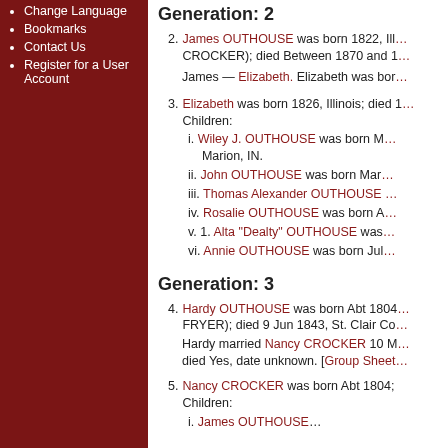Change Language
Bookmarks
Contact Us
Register for a User Account
Generation: 2
2. James OUTHOUSE was born 1822, Ill... CROCKER); died Between 1870 and 1...
James — Elizabeth. Elizabeth was bor...
3. Elizabeth was born 1826, Illinois; died ... Children:
i. Wiley J. OUTHOUSE was born M... Marion, IN.
ii. John OUTHOUSE was born Mar...
iii. Thomas Alexander OUTHOUSE ...
iv. Rosalie OUTHOUSE was born A...
v. 1. Alta "Dealty" OUTHOUSE was...
vi. Annie OUTHOUSE was born Jul...
Generation: 3
4. Hardy OUTHOUSE was born Abt 1804... FRYER); died 9 Jun 1843, St. Clair Co...
Hardy married Nancy CROCKER 10 M... died Yes, date unknown. [Group Sheet...
5. Nancy CROCKER was born Abt 1804; Children:
i. James OUTHOUSE...